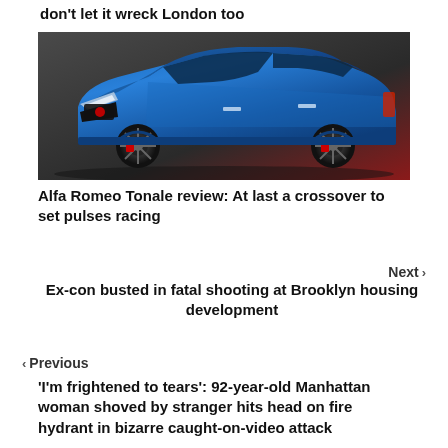don't let it wreck London too
[Figure (photo): Blue Alfa Romeo Tonale SUV/crossover on dark background]
Alfa Romeo Tonale review: At last a crossover to set pulses racing
Next >
Ex-con busted in fatal shooting at Brooklyn housing development
< Previous
'I'm frightened to tears': 92-year-old Manhattan woman shoved by stranger hits head on fire hydrant in bizarre caught-on-video attack